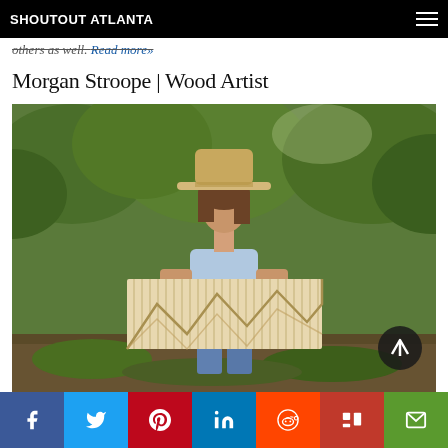SHOUTOUT ATLANTA
others as well. Read more»
Morgan Stroope | Wood Artist
[Figure (photo): Woman wearing a wide-brim hat standing outdoors in a wooded area, holding a large wooden wall art piece featuring geometric mountain/chevron patterns made of thin wood slats]
Share buttons: Facebook, Twitter, Pinterest, LinkedIn, Reddit, Mix, Email